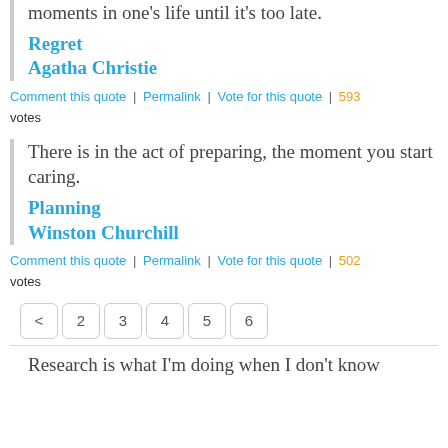moments in one's life until it's too late.
Regret
Agatha Christie
Comment this quote | Permalink | Vote for this quote | 593 votes
There is in the act of preparing, the moment you start caring.
Planning
Winston Churchill
Comment this quote | Permalink | Vote for this quote | 502 votes
< 2 3 4 5 6
Research is what I'm doing when I don't know